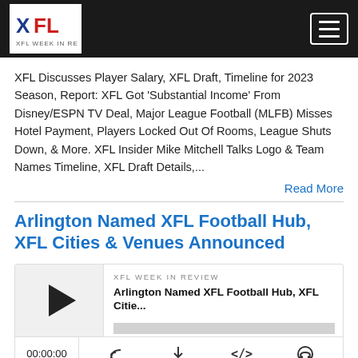XFL Week In Review
XFL Discusses Player Salary, XFL Draft, Timeline for 2023 Season, Report: XFL Got ‘Substantial Income’ From Disney/ESPN TV Deal, Major League Football (MLFB) Misses Hotel Payment, Players Locked Out Of Rooms, League Shuts Down, & More. XFL Insider Mike Mitchell Talks Logo & Team Names Timeline, XFL Draft Details,...
Read More
Arlington Named XFL Football Hub, XFL Cities & Venues Announced
[Figure (other): Podcast player widget showing episode: Arlington Named XFL Football Hub, XFL Citie... with play button, progress bar, time 00:00:00, and controls for RSS, download, embed, and podcast service.]